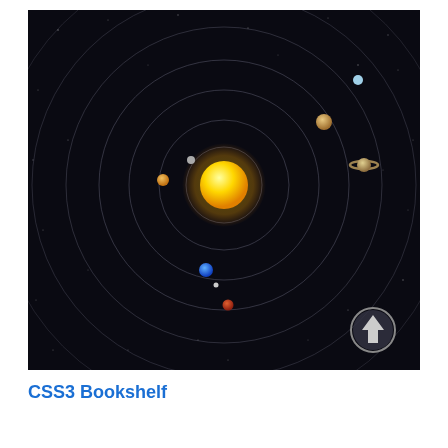[Figure (illustration): A solar system diagram on a dark near-black background. The Sun (large yellow glowing sphere) is centered. Multiple concentric circular orbital rings extend outward. Planets are positioned along the orbits: a small white/grey planet close to the Sun, Mercury/Venus-like orange planet left of center, a white dot planet slightly left, a blue dot (Earth-like) lower center, an orange-red dot (Mars-like) below center, a yellow-tan dot (Jupiter-like) upper right, a ringed planet (Saturn-like) right side, and a small pale-blue dot (Uranus/Neptune-like) far upper right. A circular up-arrow navigation button is in the lower right corner of the image.]
CSS3 Bookshelf